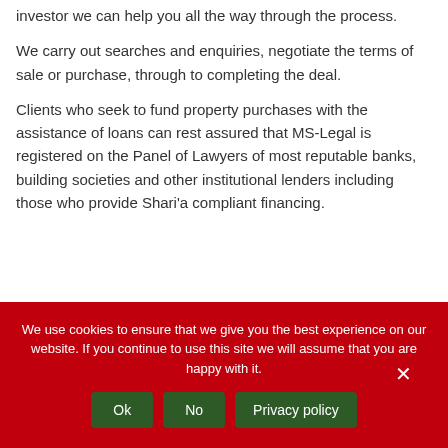investor we can help you all the way through the process.
We carry out searches and enquiries, negotiate the terms of sale or purchase, through to completing the deal.
Clients who seek to fund property purchases with the assistance of loans can rest assured that MS-Legal is registered on the Panel of Lawyers of most reputable banks, building societies and other institutional lenders including those who provide Shari'a compliant financing.
We use cookies to ensure that we give you the best experience on our website. If you continue to use this site we will assume that you are happy with it.